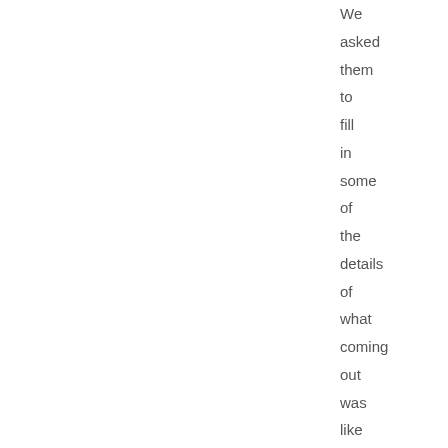We asked them to fill in some of the details of what coming out was like for them and how it has affected their work